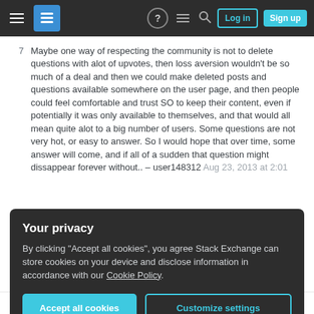Stack Exchange navigation bar with Log in and Sign up buttons
7 — Maybe one way of respecting the community is not to delete questions with alot of upvotes, then loss aversion wouldn't be so much of a deal and then we could make deleted posts and questions available somewhere on the user page, and then people could feel comfortable and trust SO to keep their content, even if potentially it was only available to themselves, and that would all mean quite alot to a big number of users. Some questions are not very hot, or easy to answer. So I would hope that over time, some answer will come, and if all of a sudden that question might dissappear forever without.. – user148312 Aug 23, 2013 at 2:01
Your privacy
By clicking "Accept all cookies", you agree Stack Exchange can store cookies on your device and disclose information in accordance with our Cookie Policy.
Accept all cookies | Customize settings
1 — @Ollie: The saying is "Revenge is a dish best served